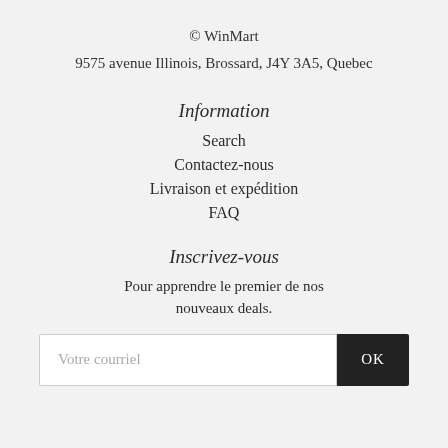© WinMart
9575 avenue Illinois, Brossard, J4Y 3A5, Quebec
Information
Search
Contactez-nous
Livraison et expédition
FAQ
Inscrivez-vous
Pour apprendre le premier de nos nouveaux deals.
Votre courriel
OK